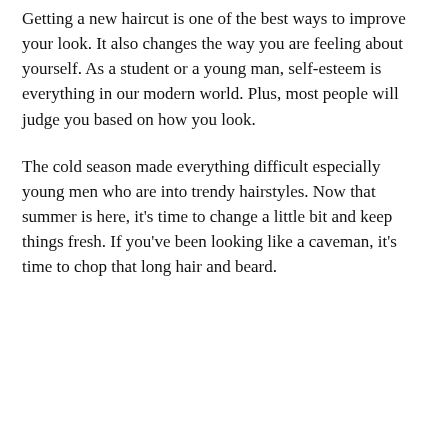Getting a new haircut is one of the best ways to improve your look. It also changes the way you are feeling about yourself. As a student or a young man, self-esteem is everything in our modern world. Plus, most people will judge you based on how you look.
The cold season made everything difficult especially young men who are into trendy hairstyles. Now that summer is here, it's time to change a little bit and keep things fresh. If you've been looking like a caveman, it's time to chop that long hair and beard.